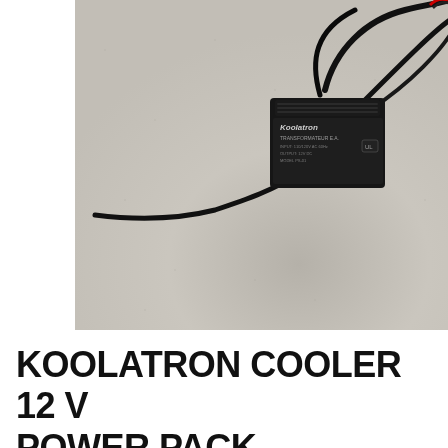[Figure (photo): A black Koolatron transformer/power adapter device with ventilation grilles on top, sitting on a light grey speckled surface. Black cables are attached and coiled around it. A label on the device reads 'Koolatron' and 'TRANSFORMATEUR E.A.'.]
KOOLATRON COOLER 12V POWER PACK